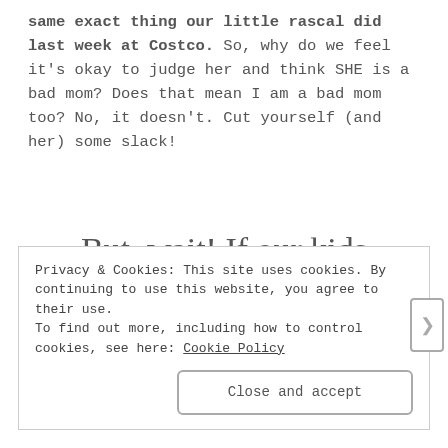same exact thing our little rascal did last week at Costco. So, why do we feel it's okay to judge her and think SHE is a bad mom? Does that mean I am a bad mom too? No, it doesn't. Cut yourself (and her) some slack!
But, wait! If our kids AREN'T a reflection of us, then where do we come in? What IS a mom supposed to do?
Privacy & Cookies: This site uses cookies. By continuing to use this website, you agree to their use. To find out more, including how to control cookies, see here: Cookie Policy
Close and accept